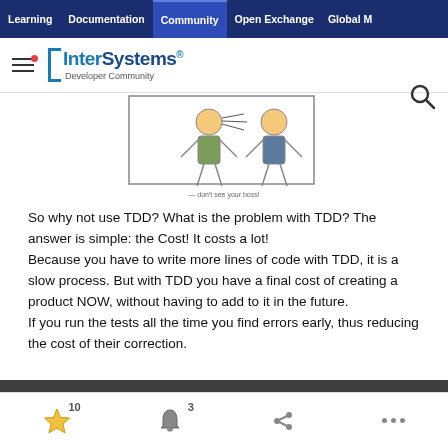Learning | Documentation | Community | Open Exchange | Global M...
[Figure (illustration): InterSystems Developer Community logo bar with hamburger menu icon and search icon]
[Figure (illustration): Cartoon showing two people talking, with caption '...don't see your boss!']
So why not use TDD? What is the problem with TDD? The answer is simple: the Cost! It costs a lot!
Because you have to write more lines of code with TDD, it is a slow process. But with TDD you have a final cost of creating a product NOW, without having to add to it in the future.
If you run the tests all the time you find errors early, thus reducing the cost of their correction.
So my advice: Just Do it!
Our website uses cookies to improve your experience. To find out more, please review our Privacy Policy.